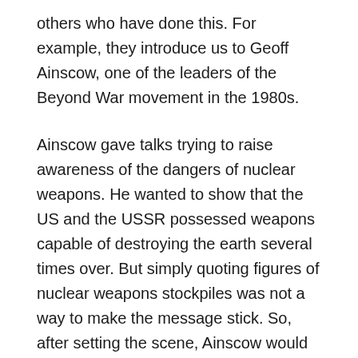others who have done this. For example, they introduce us to Geoff Ainscow, one of the leaders of the Beyond War movement in the 1980s.
Ainscow gave talks trying to raise awareness of the dangers of nuclear weapons. He wanted to show that the US and the USSR possessed weapons capable of destroying the earth several times over. But simply quoting figures of nuclear weapons stockpiles was not a way to make the message stick. So, after setting the scene, Ainscow would take a BB pellet and drop it into a steel bucket where it would make a loud noise. The pellet represented the bomb that was dropped on Hiroshima. Ainscow would then describe the devastation at Hiroshima. Next, he would take 10 pellets and drop them in the bucket where they made 10 times as much noise. They represented the nuclear firepower